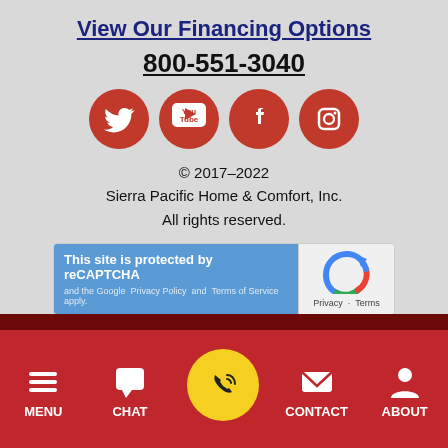View Our Financing Options
800-551-3040
[Figure (illustration): Four red circular social media icons: Twitter, YouTube, Facebook, Instagram]
© 2017–2022
Sierra Pacific Home & Comfort, Inc.
All rights reserved.
[Figure (screenshot): reCAPTCHA widget: 'This site is protected by reCAPTCHA and the Google Privacy Policy and Terms of Service apply.' with reCAPTCHA logo and Privacy - Terms links]
MENU  CHAT  (call button)  CONTACT  ABOUT